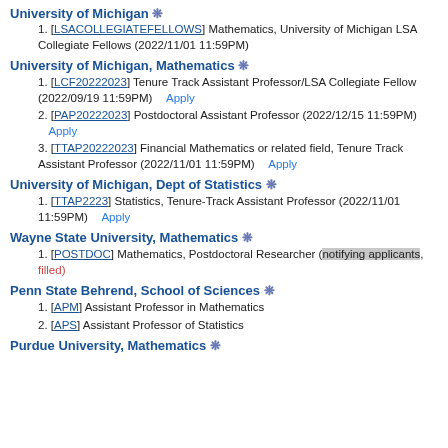University of Michigan ❋
1. [LSACOLLEGIATEFELLOWS] Mathematics, University of Michigan LSA Collegiate Fellows (2022/11/01 11:59PM)
University of Michigan, Mathematics ❋
1. [LCF20222023] Tenure Track Assistant Professor/LSA Collegiate Fellow (2022/09/19 11:59PM)   Apply
2. [PAP20222023] Postdoctoral Assistant Professor (2022/12/15 11:59PM)   Apply
3. [TTAP20222023] Financial Mathematics or related field, Tenure Track Assistant Professor (2022/11/01 11:59PM)   Apply
University of Michigan, Dept of Statistics ❋
1. [TTAP2223] Statistics, Tenure-Track Assistant Professor (2022/11/01 11:59PM)   Apply
Wayne State University, Mathematics ❋
1. [POSTDOC] Mathematics, Postdoctoral Researcher (notifying applicants, filled)
Penn State Behrend, School of Sciences ❋
1. [APM] Assistant Professor in Mathematics
2. [APS] Assistant Professor of Statistics
Purdue University, Mathematics ❋